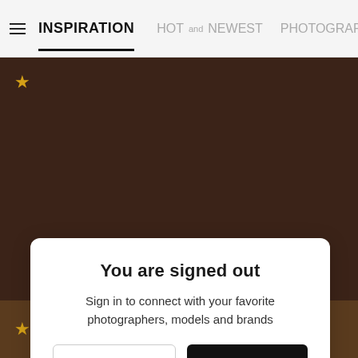☰ INSPIRATION  HOT  NEWEST  PHOTOGRAPHERS
[Figure (photo): Dark brown background image, partially visible, representing a photography inspiration feed. A gold star icon is visible in the upper left of the image area.]
You are signed out
Sign in to connect with your favorite photographers, models and brands
Log in  Join now